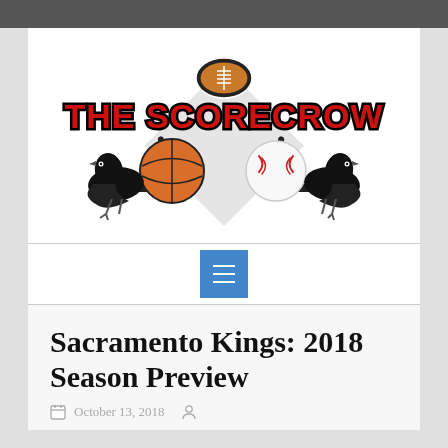[Figure (logo): The Scorecrow sports logo featuring two black crows, a football, basketball, baseball, hockey sticks, and red bold text 'THE SCORECROW' with checkered pattern background]
[Figure (other): Blue navigation button with hamburger menu icon (three white horizontal lines)]
Sacramento Kings: 2018 Season Preview
October 13, 2018